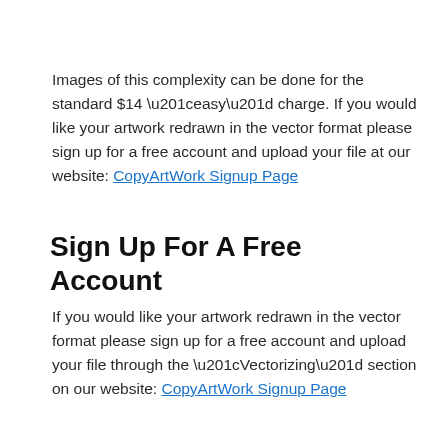Images of this complexity can be done for the standard $14 “easy” charge. If you would like your artwork redrawn in the vector format please sign up for a free account and upload your file at our website: CopyArtWork Signup Page
Sign Up For A Free Account
If you would like your artwork redrawn in the vector format please sign up for a free account and upload your file through the “Vectorizing” section on our website: CopyArtWork Signup Page